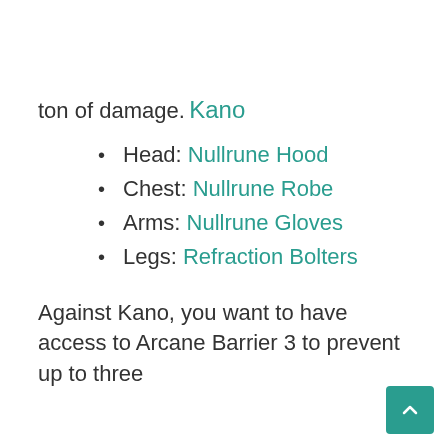ton of damage.
Kano
Head: Nullrune Hood
Chest: Nullrune Robe
Arms: Nullrune Gloves
Legs:  Refraction Bolters
Against Kano, you want to have access to Arcane Barrier 3 to prevent up to three